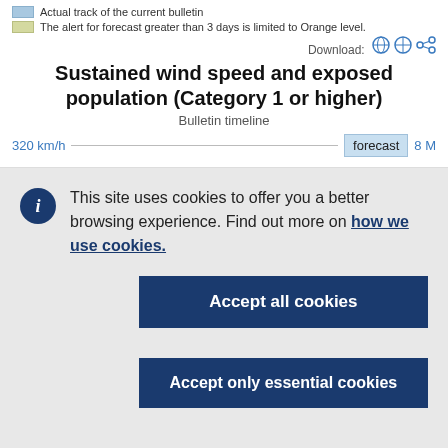Actual track of the current bulletin
The alert for forecast greater than 3 days is limited to Orange level.
Sustained wind speed and exposed population (Category 1 or higher)
Bulletin timeline
320 km/h    forecast    8 M
This site uses cookies to offer you a better browsing experience. Find out more on how we use cookies.
Accept all cookies
Accept only essential cookies